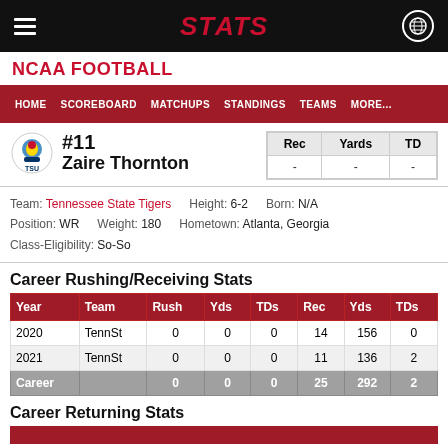STATS
NCAA FOOTBALL
#11 Zaire Thornton
| Rec | Yards | TD |
| --- | --- | --- |
| - | - | - |
Team: Tennessee State Tigers  Height: 6-2  Born: N/A
Position: WR  Weight: 180  Hometown: Atlanta, Georgia
Class-Eligibility: So-So
Career Rushing/Receiving Stats
| Year | Team | Rush | Yds | TDs | Rec | Yds | TDs |
| --- | --- | --- | --- | --- | --- | --- | --- |
| 2020 | TennSt | 0 | 0 | 0 | 14 | 156 | 0 |
| 2021 | TennSt | 0 | 0 | 0 | 11 | 136 | 2 |
| Career |  | 0 | 0 | 0 | 25 | 292 | 2 |
Career Returning Stats